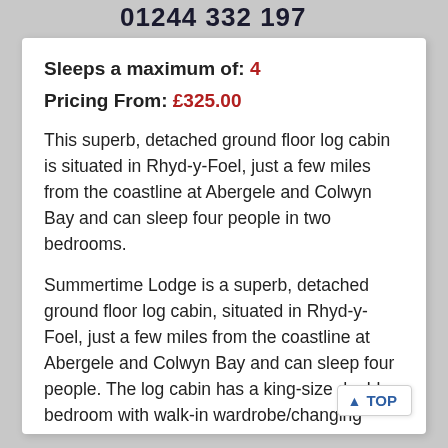01244 332 197
Sleeps a maximum of: 4
Pricing From: £325.00
This superb, detached ground floor log cabin is situated in Rhyd-y-Foel, just a few miles from the coastline at Abergele and Colwyn Bay and can sleep four people in two bedrooms.
Summertime Lodge is a superb, detached ground floor log cabin, situated in Rhyd-y-Foel, just a few miles from the coastline at Abergele and Colwyn Bay and can sleep four people. The log cabin has a king-size double bedroom with walk-in wardrobe/changing room, a twin bedroom, a